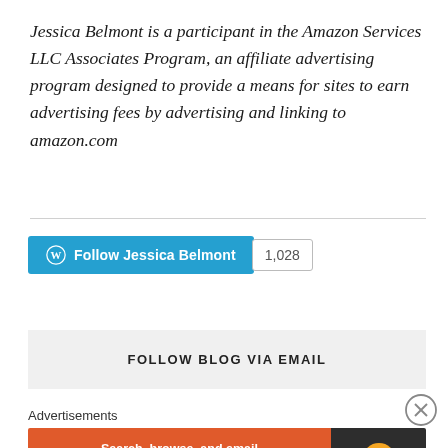Jessica Belmont is a participant in the Amazon Services LLC Associates Program, an affiliate advertising program designed to provide a means for sites to earn advertising fees by advertising and linking to amazon.com
[Figure (other): WordPress Follow button with blue background reading 'Follow Jessica Belmont' with WordPress icon, and a follower count badge showing '1,028']
FOLLOW BLOG VIA EMAIL
Advertisements
[Figure (other): DuckDuckGo advertisement banner: orange left section with text 'Search, browse, and email with more privacy. All in One Free App', dark right section with DuckDuckGo duck logo and brand name]